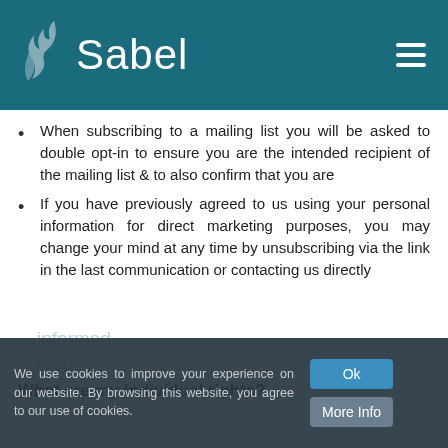Sabel
When subscribing to a mailing list you will be asked to double opt-in to ensure you are the intended recipient of the mailing list & to also confirm that you are
If you have previously agreed to us using your personal information for direct marketing purposes, you may change your mind at any time by unsubscribing via the link in the last communication or contacting us directly
What are my individual rights?
We use cookies to improve your experience on our website. By browsing this website, you agree to our use of cookies.